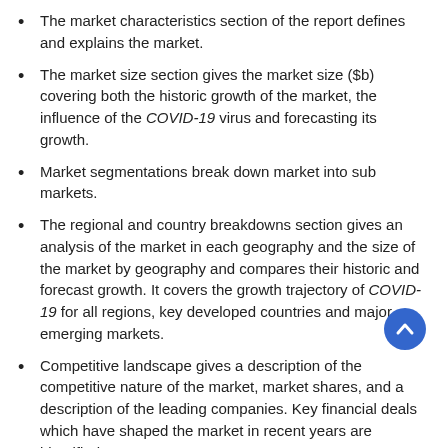The market characteristics section of the report defines and explains the market.
The market size section gives the market size ($b) covering both the historic growth of the market, the influence of the COVID-19 virus and forecasting its growth.
Market segmentations break down market into sub markets.
The regional and country breakdowns section gives an analysis of the market in each geography and the size of the market by geography and compares their historic and forecast growth. It covers the growth trajectory of COVID-19 for all regions, key developed countries and major emerging markets.
Competitive landscape gives a description of the competitive nature of the market, market shares, and a description of the leading companies. Key financial deals which have shaped the market in recent years are identified.
The trends and strategies section analyses the shape of the market as it emerges from the crisis and suggests how companies can grow as the market recovers.
The healthcare/medical simulation market section of the